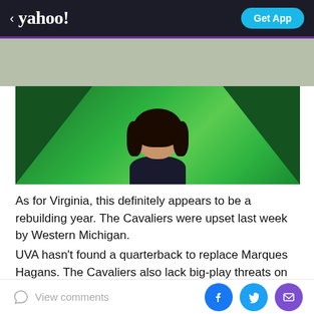< yahoo! | Get App
[Figure (photo): Yahoo advertisement banner area with muted greenish-gray background]
[Figure (photo): Smiling woman with dark hair against a green geometric background (Yahoo advertisement)]
As for Virginia, this definitely appears to be a rebuilding year. The Cavaliers were upset last week by Western Michigan.
UVA hasn't found a quarterback to replace Marques Hagans. The Cavaliers also lack big-play threats on offense. Neither Kevin Ogletree nor Tom Santi, the
View comments